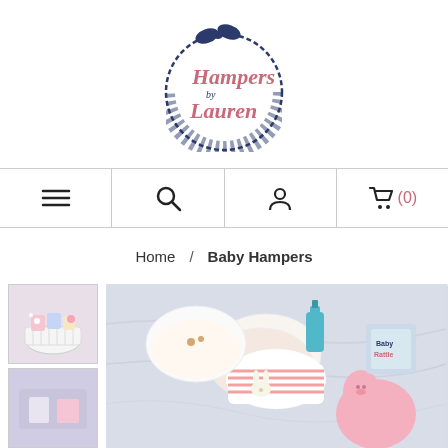[Figure (logo): Hampers by Lauren circular basket logo with navy blue woven basket outline and pink cursive text, navy bow on top]
[Figure (infographic): Navigation bar with hamburger menu, search icon, account icon, and shopping cart icon showing (0)]
Home / Baby Hampers
[Figure (photo): Thumbnail of a white wicker baby hamper filled with pink and colorful items and white flowers]
[Figure (photo): Main product photo of baby hamper contents on marble surface including baby hats, pink stuffed animal, rattles, and baby items]